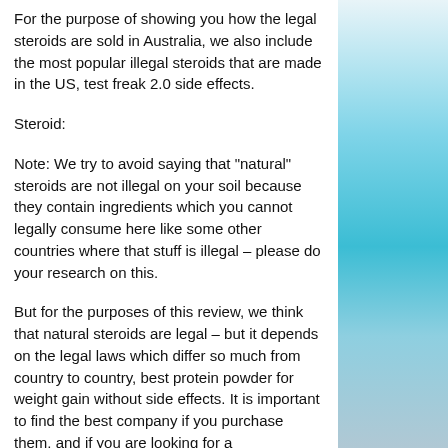For the purpose of showing you how the legal steroids are sold in Australia, we also include the most popular illegal steroids that are made in the US, test freak 2.0 side effects.
Steroid:
Note: We try to avoid saying that "natural" steroids are not illegal on your soil because they contain ingredients which you cannot legally consume here like some other countries where that stuff is illegal – please do your research on this.
But for the purposes of this review, we think that natural steroids are legal – but it depends on the legal laws which differ so much from country to country, best protein powder for weight gain without side effects. It is important to find the best company if you purchase them, and if you are looking for a